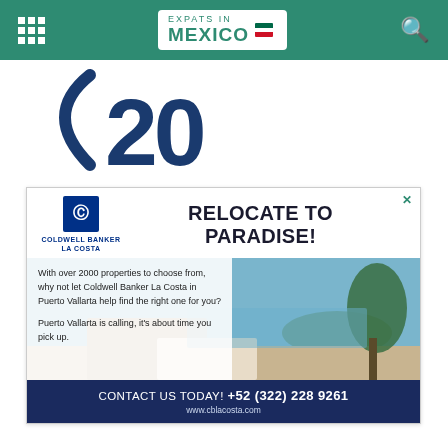Expats in Mexico
[Figure (logo): Large blue '20' or partial number with an arc/swoosh, below the navigation bar]
[Figure (infographic): Coldwell Banker La Costa advertisement: RELOCATE TO PARADISE! With over 2000 properties to choose from, why not let Coldwell Banker La Costa in Puerto Vallarta help find the right one for you? Puerto Vallarta is calling, it's about time you pick up. CONTACT US TODAY! +52 (322) 228 9261 www.cblacosta.com]